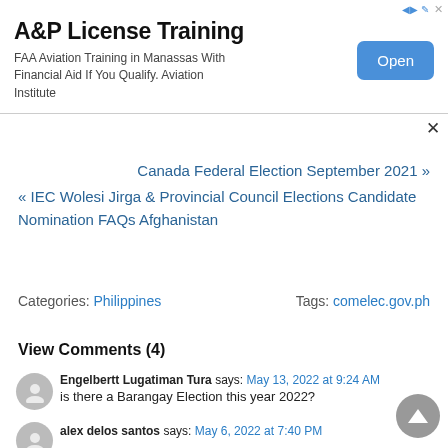[Figure (other): Advertisement banner: A&P License Training. FAA Aviation Training in Manassas With Financial Aid If You Qualify. Aviation Institute. Open button.]
× (close button)
Canada Federal Election September 2021 »
« IEC Wolesi Jirga & Provincial Council Elections Candidate Nomination FAQs Afghanistan
Categories: Philippines    Tags: comelec.gov.ph
View Comments (4)
Engelbertt Lugatiman Tura says: May 13, 2022 at 9:24 AM
is there a Barangay Election this year 2022?
alex delos santos says: May 6, 2022 at 7:40 PM